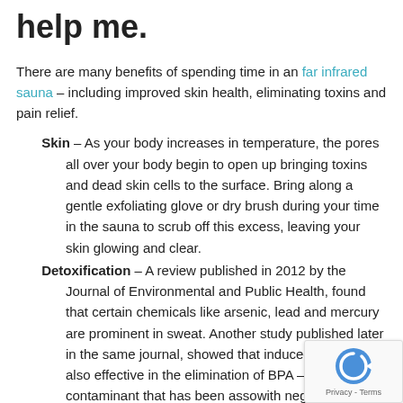help me.
There are many benefits of spending time in an far infrared sauna – including improved skin health, eliminating toxins and pain relief.
1. Skin – As your body increases in temperature, the pores all over your body begin to open up bringing toxins and dead skin cells to the surface. Bring along a gentle exfoliating glove or dry brush during your time in the sauna to scrub off this excess, leaving your skin glowing and clear.
2. Detoxification – A review published in 2012 by the Journal of Environmental and Public Health, found that certain chemicals like arsenic, lead and mercury are prominent in sweat. Another study published later in the same journal, showed that induced sweating is also effective in the elimination of BPA – a contaminant that has been associated with negative health conditions. Far infrared saunas are a way to induce sweating, allowing the body to expel toxins.